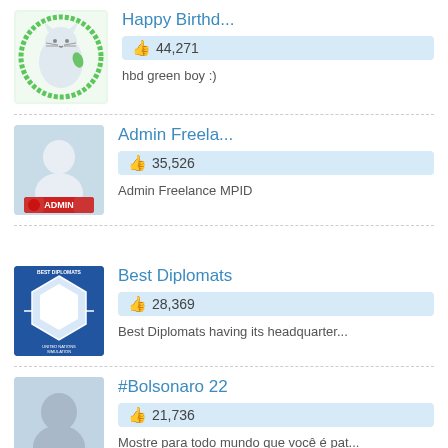[Figure (screenshot): Profile image: cartoon cat with green circle border on light green background]
Happy Birthd...
👍 44,271
hbd green boy :)
[Figure (screenshot): Profile image: silhouette on light blue background with red ADMIN badge]
Admin Freela...
👍 35,526
Admin Freelance MPID
[Figure (screenshot): Best Diplomats logo: white hexagon on blue background with text]
Best Diplomats
👍 28,369
Best Diplomats having its headquarter...
[Figure (screenshot): Profile image: silhouette with 22 and Bolsonaro text on light blue background]
#Bolsonaro 22
👍 21,736
Mostre para todo mundo que você é pat...